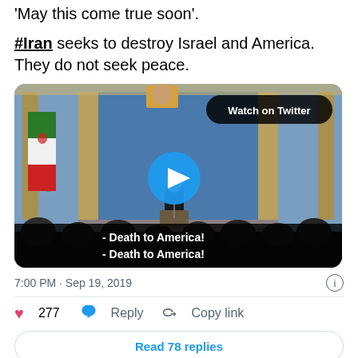'May this come true soon'.
#Iran seeks to destroy Israel and America. They do not seek peace.
[Figure (screenshot): Video thumbnail showing a speech in an official hall with Iranian flag, a person at a podium, and subtitle text '- Death to America! - Death to America!' with a 'Watch on Twitter' badge and blue play button overlay.]
7:00 PM · Sep 19, 2019
277  Reply  Copy link
Read 78 replies